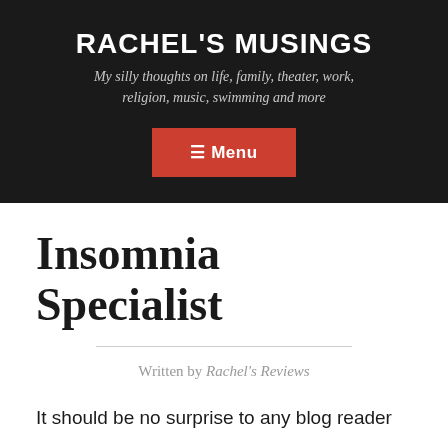RACHEL'S MUSINGS
My silly thoughts on life, family, theater, work, religion, music, swimming and more
≡ Menu
Insomnia Specialist
Written by Rachel's Reviews
It should be no surprise to any blog reader